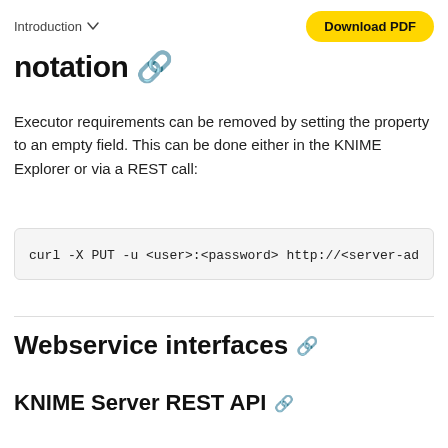Introduction   Download PDF
notation 🔗
Executor requirements can be removed by setting the property to an empty field. This can be done either in the KNIME Explorer or via a REST call:
curl -X PUT -u <user>:<password> http://<server-ad
Webservice interfaces 🔗
KNIME Server REST API 🔗